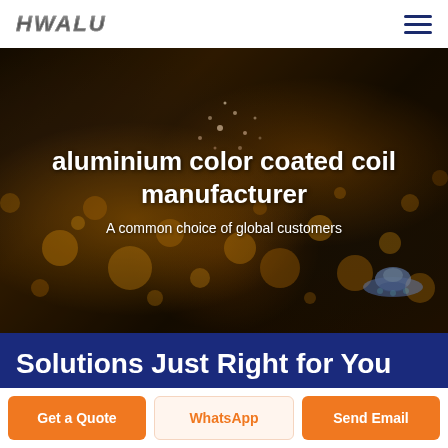HWALU
[Figure (photo): Dark industrial background with bokeh orange/gold light spots, showing metalworking or manufacturing process. Hero banner image with text overlay.]
aluminium color coated coil manufacturer
A common choice of global customers
Solutions Just Right for You
Get a Quote
WhatsApp
Send Email